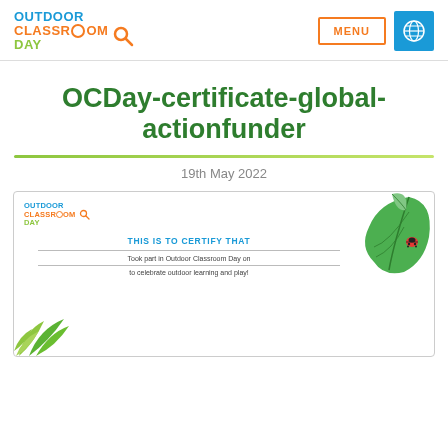Outdoor Classroom Day — MENU (nav button) — Globe icon
OCDay-certificate-global-actionfunder
19th May 2022
[Figure (illustration): Preview of an Outdoor Classroom Day certificate. Shows the OCD logo top-left, 'THIS IS TO CERTIFY THAT' in blue, a blank name line, 'Took part in Outdoor Classroom Day on', a date line, 'to celebrate outdoor learning and play!', with a green leaf and ladybird image top-right and green plants bottom-left.]